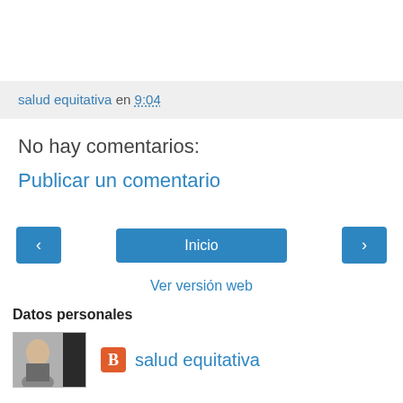salud equitativa en 9:04
No hay comentarios:
Publicar un comentario
‹   Inicio   ›
Ver versión web
Datos personales
salud equitativa